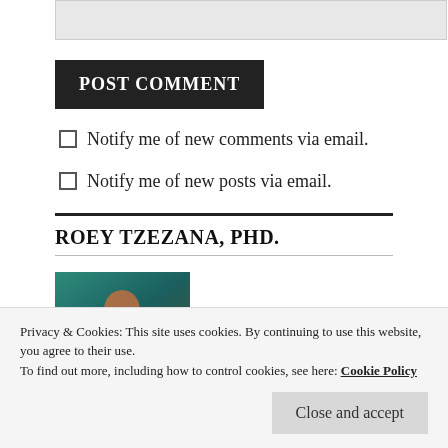[Figure (other): Textarea input stub/form element (grayed out)]
POST COMMENT
Notify me of new comments via email.
Notify me of new posts via email.
ROEY TZEZANA, PHD.
[Figure (photo): Author profile photo - appears to show an illustrated or rendered figure, teal/orange tones]
Privacy & Cookies: This site uses cookies. By continuing to use this website, you agree to their use.
To find out more, including how to control cookies, see here: Cookie Policy
Close and accept